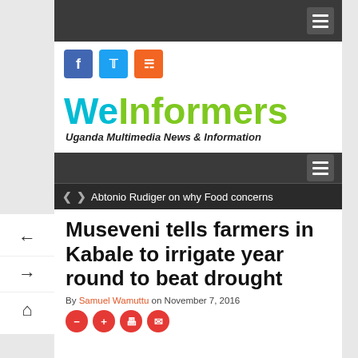[Figure (logo): WeInformers logo with tagline 'Uganda Multimedia News & Information']
Abtonio Rudiger on why Food concerns
Museveni tells farmers in Kabale to irrigate year round to beat drought
By Samuel Wamuttu on November 7, 2016